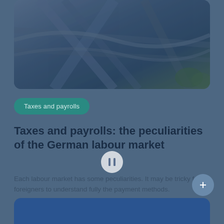[Figure (photo): Aerial view of a city with roads and highways, dark blue-teal tone, rounded rectangle frame]
Taxes and payrolls
Taxes and payrolls: the peculiarities of the German labour market
Each labour market has some peculiarities. It may be tricky for foreigners to understand fully the payment methods.
Èlia Adroher i Llorens   March 30, 2022